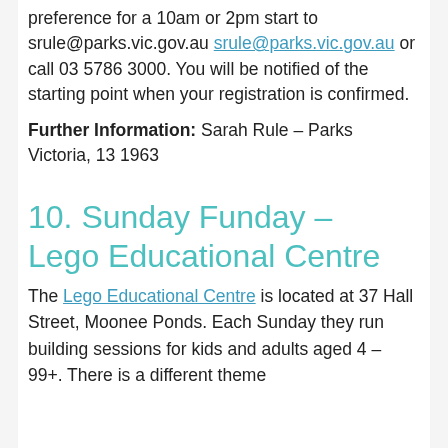preference for a 10am or 2pm start to srule@parks.vic.gov.au srule@parks.vic.gov.au or call 03 5786 3000. You will be notified of the starting point when your registration is confirmed.
Further Information: Sarah Rule – Parks Victoria, 13 1963
10. Sunday Funday – Lego Educational Centre
The Lego Educational Centre is located at 37 Hall Street, Moonee Ponds. Each Sunday they run building sessions for kids and adults aged 4 – 99+. There is a different theme